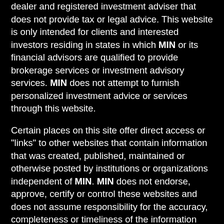dealer and registered investment adviser that does not provide tax or legal advice. This website is only intended for clients and interested investors residing in states in which MIN or its financial advisors are qualified to provide brokerage services or investment advisory services. MIN does not attempt to furnish personalized investment advice or services through this website.
Certain places on this site offer direct access or "links" to other websites that contain information that was created, published, maintained or otherwise posted by institutions or organizations independent of MIN. MIN does not endorse, approve, certify or control these websites and does not assume responsibility for the accuracy, completeness or timeliness of the information located therein. Visitors to these sites should not use or rely on the information contained therein until after consulting with an independent finance professional. MIN does not necessarily endorse or recommend any commercial product or service described on these independent sites.
For informational only and is not a recommendation. MIN is